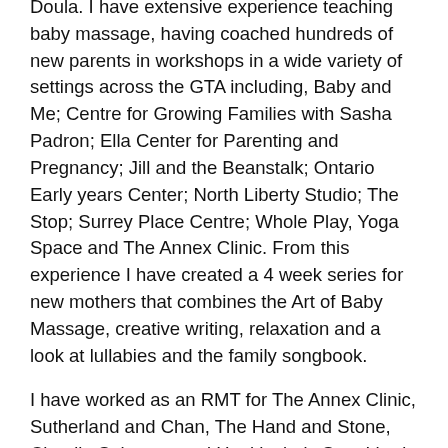Doula. I have extensive experience teaching baby massage, having coached hundreds of new parents in workshops in a wide variety of settings across the GTA including, Baby and Me; Centre for Growing Families with Sasha Padron; Ella Center for Parenting and Pregnancy; Jill and the Beanstalk; Ontario Early years Center; North Liberty Studio; The Stop; Surrey Place Centre; Whole Play, Yoga Space and The Annex Clinic. From this experience I have created a 4 week series for new mothers that combines the Art of Baby Massage, creative writing, relaxation and a look at lullabies and the family songbook.
I have worked as an RMT for The Annex Clinic, Sutherland and Chan, The Hand and Stone, Claudia Saltzman and Healthwinds Spa. I had a private practice at The Toronto Healing Arts Centre and a home based practice in the years inbetween.